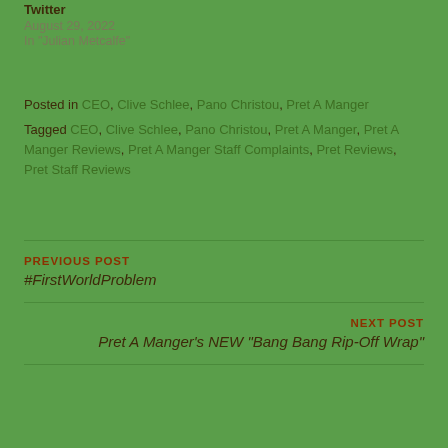Twitter
August 29, 2022
In "Julian Metcalfe"
Posted in CEO, Clive Schlee, Pano Christou, Pret A Manger
Tagged CEO, Clive Schlee, Pano Christou, Pret A Manger, Pret A Manger Reviews, Pret A Manger Staff Complaints, Pret Reviews, Pret Staff Reviews
PREVIOUS POST
#FirstWorldProblem
NEXT POST
Pret A Manger's NEW "Bang Bang Rip-Off Wrap"